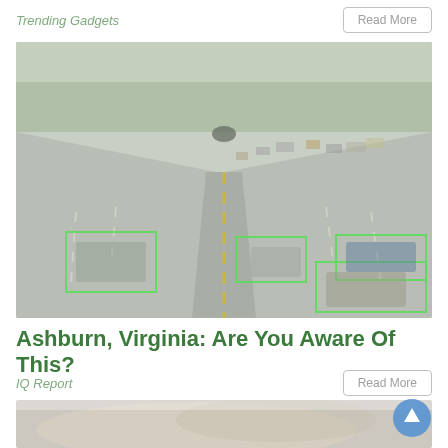Trending Gadgets
[Figure (photo): Aerial view of a multi-lane highway with traffic and green bounding boxes overlaid on vehicles, suggesting AI-based vehicle detection.]
Ashburn, Virginia: Are You Aware Of This?
IQ Report
[Figure (photo): Close-up photo of a wrapped or folded light-colored surface, partially visible at the bottom of the page.]